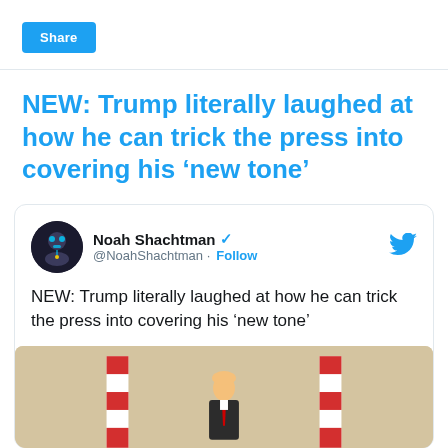Share
NEW: Trump literally laughed at how he can trick the press into covering his ‘new tone’
[Figure (screenshot): Embedded tweet from @NoahShachtman with verified badge and Follow button. Tweet text: NEW: Trump literally laughed at how he can trick the press into covering his ‘new tone’. Below the text is a partial article illustration showing two red-and-white striped poles/barriers flanking a small figure in a dark suit on a tan/beige background.]